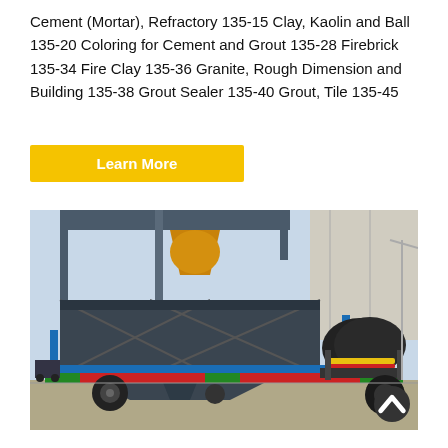Cement (Mortar), Refractory 135-15 Clay, Kaolin and Ball 135-20 Coloring for Cement and Grout 135-28 Firebrick 135-34 Fire Clay 135-36 Granite, Rough Dimension and Building 135-38 Grout Sealer 135-40 Grout, Tile 135-45
Learn More
[Figure (photo): Industrial cement mixing plant on a wheeled trailer. The equipment features a large dark gray aggregate bin structure with cross-bracing, mounted on a red and green flatbed trailer with blue frame. A cylindrical drum mixer is visible on the right side. The machinery is photographed outdoors with a building structure visible in the background.]